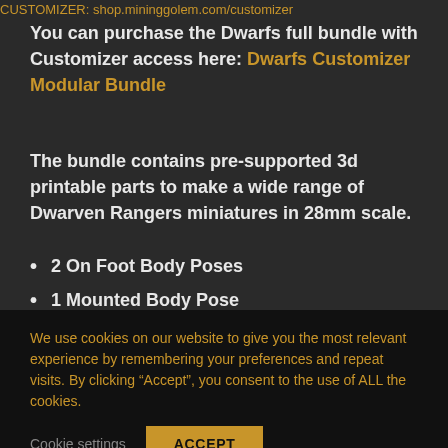CUSTOMIZER: shop.mininggolem.com/customizer
You can purchase the Dwarfs full bundle with Customizer access here: Dwarfs Customizer Modular Bundle
The bundle contains pre-supported 3d printable parts to make a wide range of Dwarven Rangers miniatures in 28mm scale.
2 On Foot Body Poses
1 Mounted Body Pose
1 Mountain Goat (Heavy Armor)
We use cookies on our website to give you the most relevant experience by remembering your preferences and repeat visits. By clicking “Accept”, you consent to the use of ALL the cookies.
Cookie settings   ACCEPT